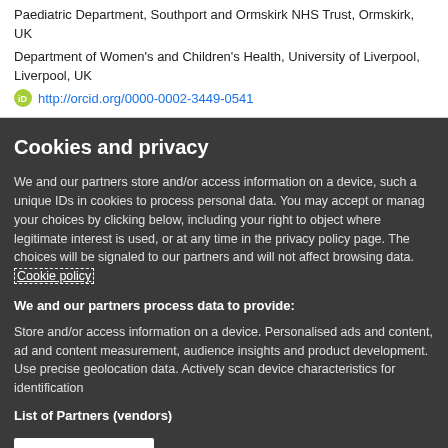Paediatric Department, Southport and Ormskirk NHS Trust, Ormskirk, UK
Department of Women's and Children's Health, University of Liverpool, Liverpool, UK
http://orcid.org/0000-0002-3449-0541
Cookies and privacy
We and our partners store and/or access information on a device, such as unique IDs in cookies to process personal data. You may accept or manage your choices by clicking below, including your right to object where legitimate interest is used, or at any time in the privacy policy page. These choices will be signaled to our partners and will not affect browsing data. Cookie policy
We and our partners process data to provide:
Store and/or access information on a device, Personalised ads and content, ad and content measurement, audience insights and product development. Use precise geolocation data. Actively scan device characteristics for identification
List of Partners (vendors)